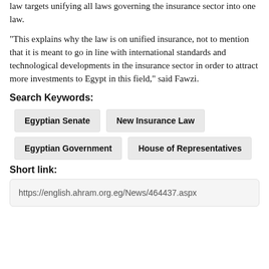law targets unifying all laws governing the insurance sector into one law.
"This explains why the law is on unified insurance, not to mention that it is meant to go in line with international standards and technological developments in the insurance sector in order to attract more investments to Egypt in this field," said Fawzi.
Search Keywords:
Egyptian Senate
New Insurance Law
Egyptian Government
House of Representatives
Short link:
https://english.ahram.org.eg/News/464437.aspx